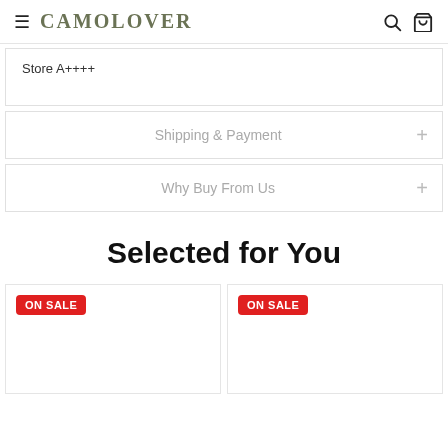CAMOLOVER
Store A++++
Shipping & Payment
Why Buy From Us
Selected for You
[Figure (other): Product card with ON SALE badge, left side]
[Figure (other): Product card with ON SALE badge, right side]